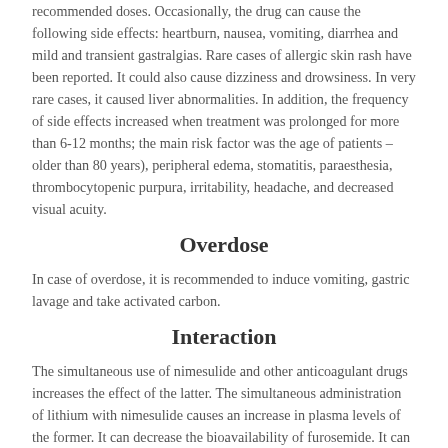recommended doses. Occasionally, the drug can cause the following side effects: heartburn, nausea, vomiting, diarrhea and mild and transient gastralgias. Rare cases of allergic skin rash have been reported. It could also cause dizziness and drowsiness. In very rare cases, it caused liver abnormalities. In addition, the frequency of side effects increased when treatment was prolonged for more than 6-12 months; the main risk factor was the age of patients – older than 80 years), peripheral edema, stomatitis, paraesthesia, thrombocytopenic purpura, irritability, headache, and decreased visual acuity.
Overdose
In case of overdose, it is recommended to induce vomiting, gastric lavage and take activated carbon.
Interaction
The simultaneous use of nimesulide and other anticoagulant drugs increases the effect of the latter. The simultaneous administration of lithium with nimesulide causes an increase in plasma levels of the former. It can decrease the bioavailability of furosemide. It can significantly decrease the levels of theophylline in the plasma.